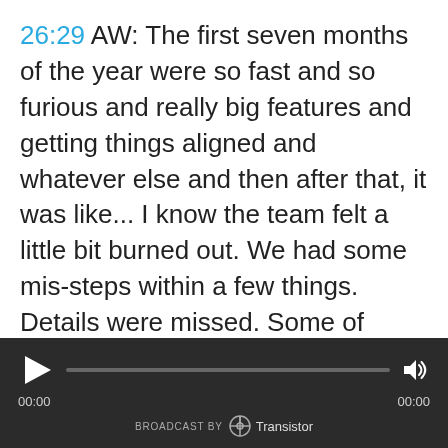26:29 AW: The first seven months of the year were so fast and so furious and really big features and getting things aligned and whatever else and then after that, it was like... I know the team felt a little bit burned out. We had some mis-steps within a few things. Details were missed. Some of those kind of pieces with it and that all kinda added up and then it kind of put us on pause for a month or two for everybody to get their feet back under them and now we're kinda in the same cycle where we have a lot of things starting to slope
[Figure (other): Audio player bar with play button, progress bar, volume icon, time display (00:00 / 00:00), and 'Broadcast by Transistor' logo at bottom.]